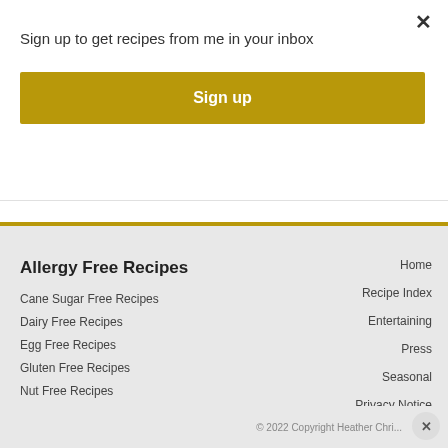Sign up to get recipes from me in your inbox
Sign up
Allergy Free Recipes
Cane Sugar Free Recipes
Dairy Free Recipes
Egg Free Recipes
Gluten Free Recipes
Nut Free Recipes
Peanut Free Recipes
Soy Free Recipes
Home
Recipe Index
Entertaining
Press
Seasonal
Privacy Notice
Bloglovin
© 2022 Copyright Heather Chris...